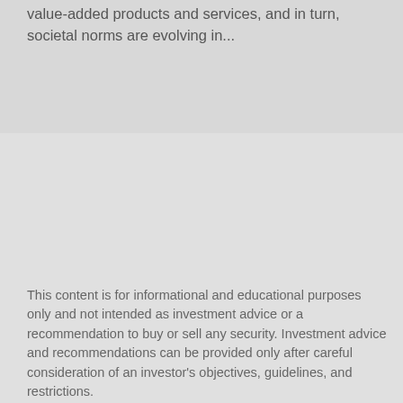value-added products and services, and in turn, societal norms are evolving in...
This content is for informational and educational purposes only and not intended as investment advice or a recommendation to buy or sell any security. Investment advice and recommendations can be provided only after careful consideration of an investor's objectives, guidelines, and restrictions.
Information and opinions expressed are those of the authors and may not reflect the opinions of other investment teams within William Blair Investment Management, LLC, or affiliates. Factual information has been taken from sources we believe to be reliable, but its accuracy, completeness or interpretation cannot be guaranteed. Information is current as of the date appearing in this material only and subject to change without notice. Statements concerning financial